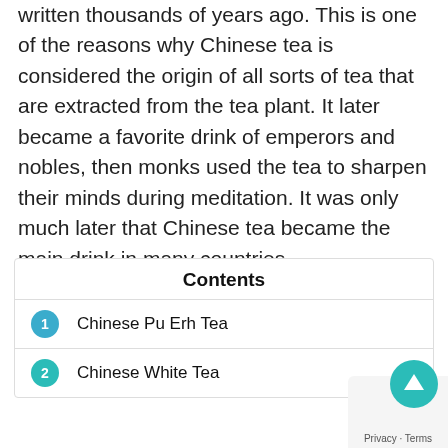written thousands of years ago. This is one of the reasons why Chinese tea is considered the origin of all sorts of tea that are extracted from the tea plant. It later became a favorite drink of emperors and nobles, then monks used the tea to sharpen their minds during meditation. It was only much later that Chinese tea became the main drink in many countries.
Contents
1 Chinese Pu Erh Tea
2 Chinese White Tea